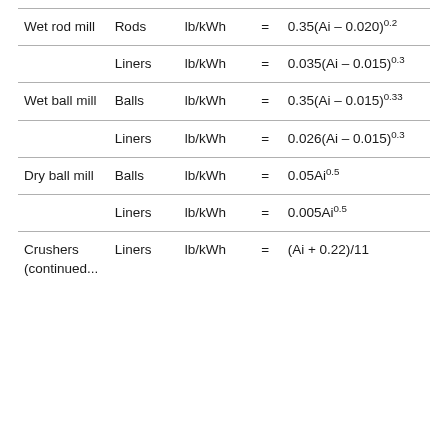| Wet rod mill | Rods | lb/kWh | = | 0.35(Ai – 0.020)^0.2 |
|  | Liners | lb/kWh | = | 0.035(Ai – 0.015)^0.3 |
| Wet ball mill | Balls | lb/kWh | = | 0.35(Ai – 0.015)^0.33 |
|  | Liners | lb/kWh | = | 0.026(Ai – 0.015)^0.3 |
| Dry ball mill | Balls | lb/kWh | = | 0.05Ai^0.5 |
|  | Liners | lb/kWh | = | 0.005Ai^0.5 |
| Crushers (continued...) | Liners | lb/kWh | = | (Ai + 0.22)/11 |